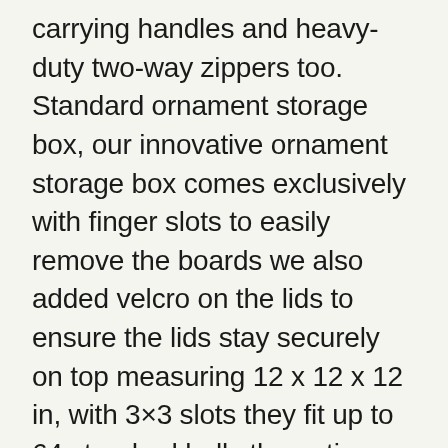carrying handles and heavy-duty two-way zippers too. Standard ornament storage box, our innovative ornament storage box comes exclusively with finger slots to easily remove the boards we also added velcro on the lids to ensure the lids stay securely on top measuring 12 x 12 x 12 in, with 3×3 slots they fit up to 64 standard balls the entire box folds into itself when not in use made with pe high-quality fabric. A must have after the holiday season storage containers for all your christmas decorations includes innovative ornament storage box | larger ornament storage box | wreath storage container | christmas tree storage bag. Larger ornament storage box, our bigger ornament storage box comes exclusively